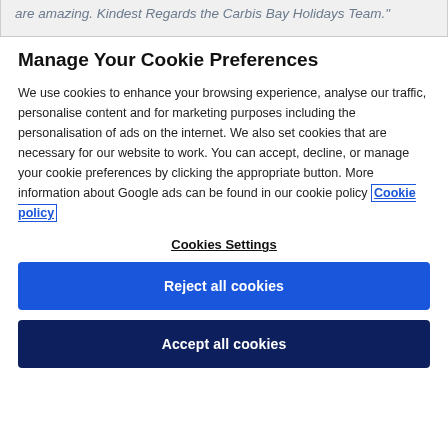are amazing. Kindest Regards the Carbis Bay Holidays Team."
Manage Your Cookie Preferences
We use cookies to enhance your browsing experience, analyse our traffic, personalise content and for marketing purposes including the personalisation of ads on the internet. We also set cookies that are necessary for our website to work. You can accept, decline, or manage your cookie preferences by clicking the appropriate button. More information about Google ads can be found in our cookie policy Cookie policy
Cookies Settings
Reject all cookies
Accept all cookies